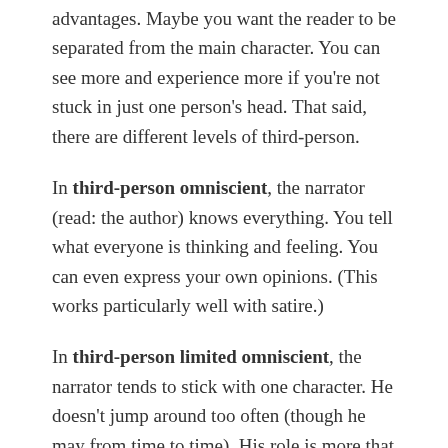advantages. Maybe you want the reader to be separated from the main character. You can see more and experience more if you're not stuck in just one person's head. That said, there are different levels of third-person.
In third-person omniscient, the narrator (read: the author) knows everything. You tell what everyone is thinking and feeling. You can even express your own opinions. (This works particularly well with satire.)
In third-person limited omniscient, the narrator tends to stick with one character. He doesn't jump around too often (though he may from time to time). His role is more that of an observer.
In third-person limited, the narrator is more neutral. He is not all-knowing, nor does he jump around too much.